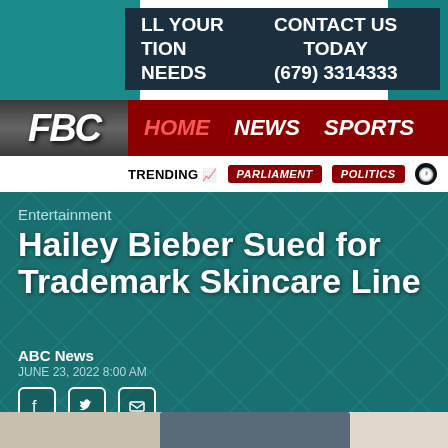LL YOUR TION NEEDS | CONTACT US TODAY (679) 3314333
[Figure (logo): FBC logo navigation bar with HOME, NEWS, SPORTS links]
TRENDING | PARLIAMENT | POLITICS
Entertainment
Hailey Bieber Sued for Trademark Skincare Line
ABC News
JUNE 23, 2022 8:00 AM
[Figure (photo): Photo of Hailey Bieber, a woman with long brown hair, partially visible at bottom of page]